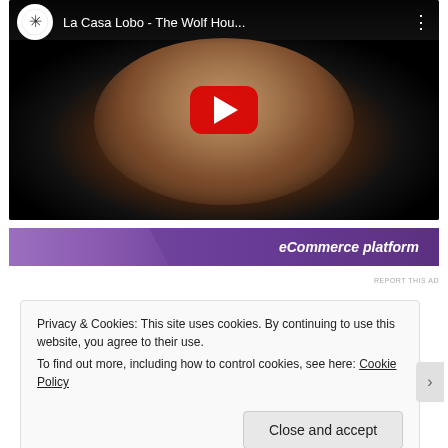[Figure (screenshot): YouTube video thumbnail for 'La Casa Lobo - The Wolf Hou...' showing two figures in a dark circular tunnel/cave, with a red YouTube play button in the center. Top bar shows channel logo and video title.]
[Figure (screenshot): Purple advertisement banner with text 'eCommerce platform' in italic white bold text on the right side, with a wave graphic on the left.]
REPORT THIS AD
Privacy & Cookies: This site uses cookies. By continuing to use this website, you agree to their use.
To find out more, including how to control cookies, see here: Cookie Policy
Close and accept